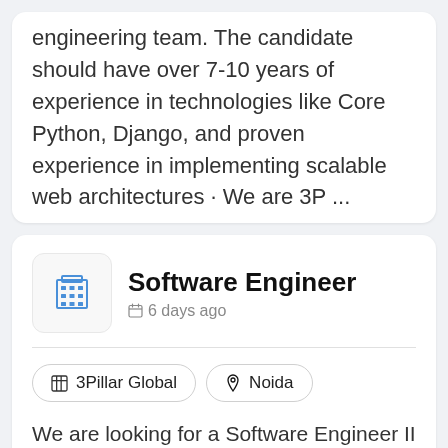engineering team. The candidate should have over 7-10 years of experience in technologies like Core Python, Django, and proven experience in implementing scalable web architectures · We are 3P ...
Software Engineer
6 days ago
3Pillar Global   Noida
We are looking for a Software Engineer II - ANGULAR to be part of the Product Engineering team. The candidate should have good experience with Angular, CSS etc. The